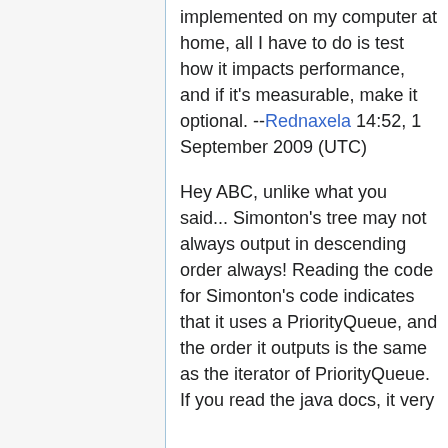implemented on my computer at home, all I have to do is test how it impacts performance, and if it's measurable, make it optional. --Rednaxela 14:52, 1 September 2009 (UTC)
Hey ABC, unlike what you said... Simonton's tree may not always output in descending order always! Reading the code for Simonton's code indicates that it uses a PriorityQueue, and the order it outputs is the same as the iterator of PriorityQueue. If you read the java docs, it very